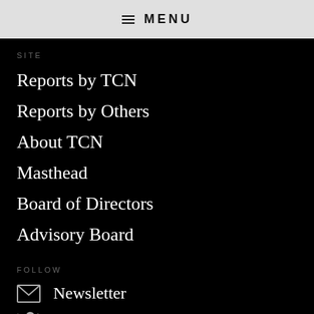≡ MENU
SITE
Reports by TCN
Reports by Others
About TCN
Masthead
Board of Directors
Advisory Board
FOLLOW
Newsletter
Twitter